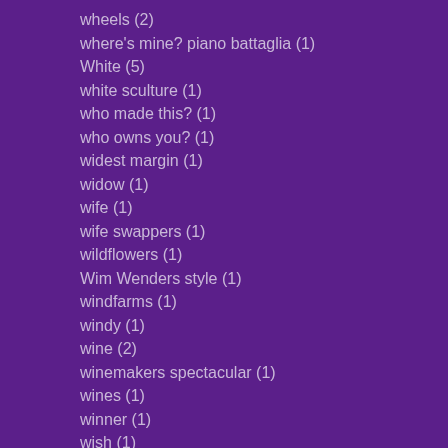wheels (2)
where's mine? piano battaglia (1)
White (5)
white sculture (1)
who made this? (1)
who owns you? (1)
widest margin (1)
widow (1)
wife (1)
wife swappers (1)
wildflowers (1)
Wim Wenders style (1)
windfarms (1)
windy (1)
wine (2)
winemakers spectacular (1)
wines (1)
winner (1)
wish (1)